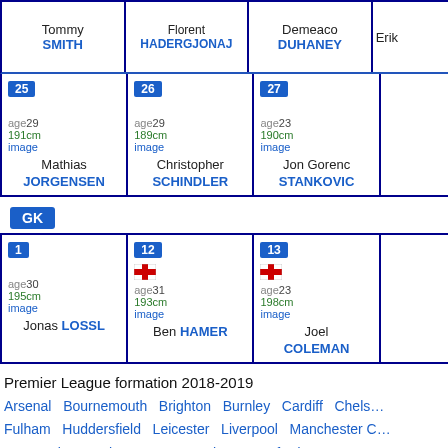| Tommy SMITH | Florent HADERGJONAJ | Demeaco DUHANEY | Erik ... |
| --- | --- | --- | --- |
25 age29 191cm image Mathias JORGENSEN
26 age29 189cm image Christopher SCHINDLER
27 age23 190cm image Jon Gorenc STANKOVIC
GK
1 age30 195cm image Jonas LOSSL
12 [England flag] age31 193cm image Ben HAMER
13 [England flag] age23 198cm image Joel COLEMAN
Premier League formation 2018-2019
Arsenal  Bournemouth  Brighton  Burnley  Cardiff  Chelsea  Fulham  Huddersfield  Leicester  Liverpool  Manchester City  Newcastle  Southampton  Tottenham  Watford  West Ham